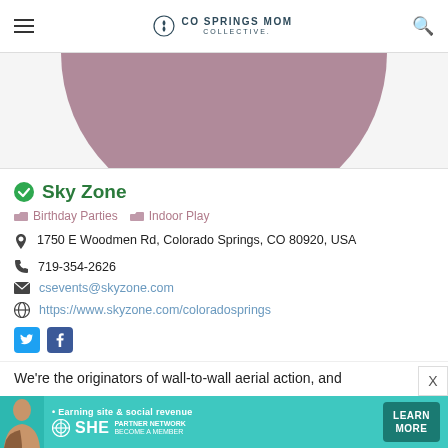CO SPRINGS MOM COLLECTIVE
[Figure (photo): Semicircle profile image in mauve/dusty rose color, bottom half of a circle shown from top]
Sky Zone
Birthday Parties  Indoor Play
1750 E Woodmen Rd, Colorado Springs, CO 80920, USA
719-354-2626
csevents@skyzone.com
https://www.skyzone.com/coloradosprings
We're the originators of wall-to-wall aerial action, and
[Figure (infographic): SHE Media advertisement banner with teal background showing woman, SHE Partner Network branding, and Learn More button]